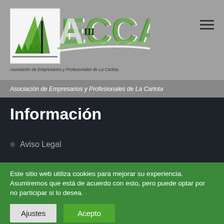[Figure (logo): AECCA logo with green leaf/tree motif and text 'Asociación de Empresarios y Profesionales de La Carlota']
Asociación de Empresarios y Profesionales de La Carlota
Información
Aviso Legal
Este sitio web utiliza cookies para mejorar su experiencia. Asumiremos que está de acuerdo con esto, pero puede optar por no participar si lo desea.
Ajustes
Acepto